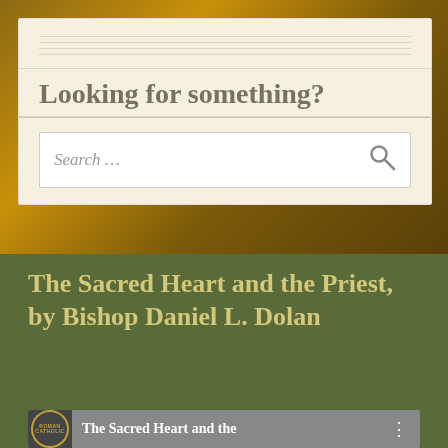Looking for something?
Search …
The Sacred Heart and the Priest, by Bishop Daniel L. Dolan
[Figure (screenshot): Book preview thumbnail showing 'The Sacred Heart and the' title with Roman Catholic badge and three-dot menu]